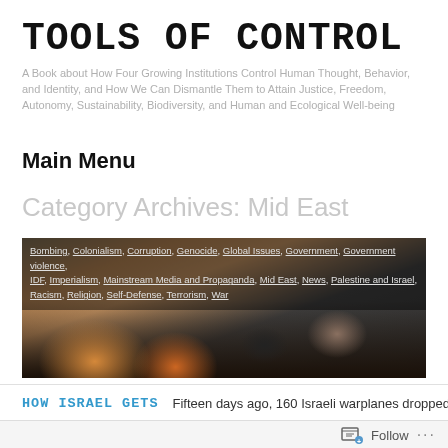TOOLS OF CONTROL
A Book about How Four Growing Institutions Control Human Thought, Behavior, and Identity, and How We Can Dismantle Them to Attain Justice, Freedom, Autonomy, Sustainability, Biodiversity, and Human and Ecological Well-being
Main Menu
Category Archives: Mid East
[Figure (photo): News photo showing rescue workers and people amid rubble, with overlaid tag links including: Bombing, Colonialism, Corruption, Genocide, Global Issues, Government, Government violence, IDF, Imperialism, Mainstream Media and Propaganda, Mid East, News, Palestine and Israel, Racism, Religion, Self-Defense, Terrorism, War]
HOW ISRAEL GETS   Fifteen days ago, 160 Israeli warplanes dropped 80